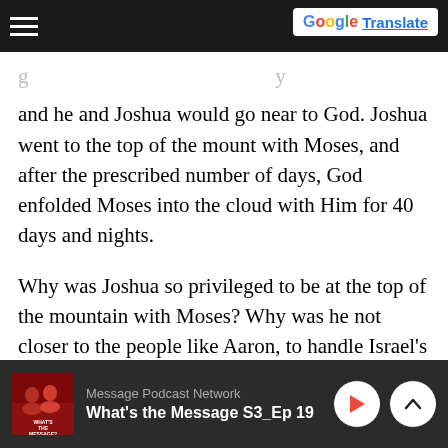and he and Joshua would go near to God. Joshua went to the top of the mount with Moses, and after the prescribed number of days, God enfolded Moses into the cloud with Him for 40 days and nights.
Why was Joshua so privileged to be at the top of the mountain with Moses? Why was he not closer to the people like Aaron, to handle Israel’s pressing issues, should they arise? Could it be that God was giving us a foretaste of the sanctuary blueprint where there would be those who ministered in the Outer Court with daily
Message Podcast Network
What’s the Message S3_Ep 19